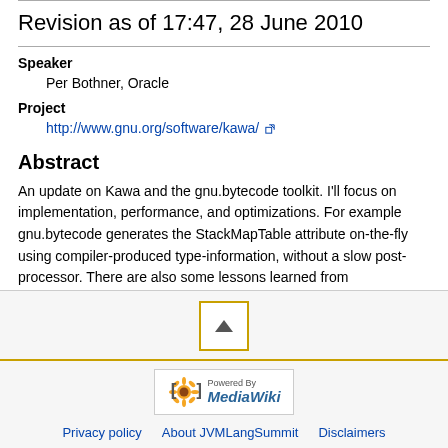Revision as of 17:47, 28 June 2010
Speaker
Per Bothner, Oracle
Project
http://www.gnu.org/software/kawa/
Abstract
An update on Kawa and the gnu.bytecode toolkit. I'll focus on implementation, performance, and optimizations. For example gnu.bytecode generates the StackMapTable attribute on-the-fly using compiler-produced type-information, without a slow post-processor. There are also some lessons learned from implementing benchmark programs. I will also briefly touch on new and planned user-visible changes.
[Figure (other): Navigation button with upward-pointing triangle]
[Figure (logo): Powered by MediaWiki logo]
Privacy policy   About JVMLangSummit   Disclaimers